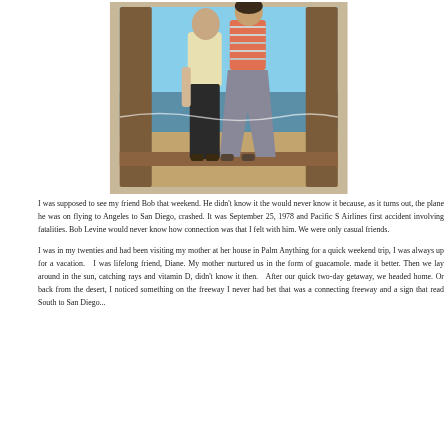[Figure (photo): A vintage photograph of two people standing on a wooden dock or pier with their backs to the camera, looking out at the ocean/beach. One person wears a light yellow top with dark pants, the other wears a striped top with gray flared pants. Wooden posts frame the scene.]
I was supposed to see my friend Bob that weekend. He didn't know it the would never know it because, as it turns out, the plane he was on flying to Angeles to San Diego, crashed. It was September 25, 1978 and Pacific S Airlines first accident involving fatalities. Bob Levine would never know how connection was that I felt with him. We were only casual friends.
I was in my twenties and had been visiting my mother at her house in Palm Anything for a quick weekend trip, I was always up for a vacation. I was lifelong friend, Diane. My mother nurtured us in the form of guacamole. made it better. Then we lay around in the sun, catching rays and vitamin D, didn't know it then. After our quick two-day getaway, we headed home. Or back from the desert, I noticed something on the freeway I never had bef that was a connecting freeway and a sign that read South to San Diego...